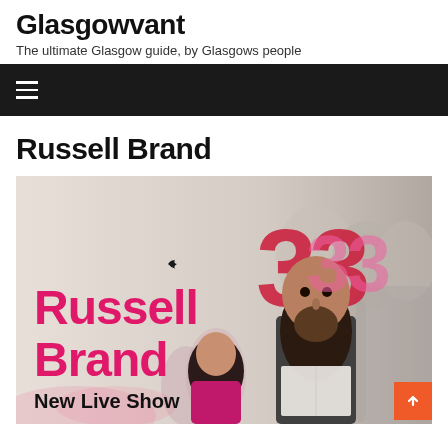Glasgowvant — The ultimate Glasgow guide, by Glasgows people
Russell Brand
[Figure (photo): Russell Brand New Live Show promotional image showing Russell Brand with long dark hair and beard, standing among a crowd, with pink and red '33' numbers in background and 'Russell Brand New Live Show' text overlaid in pink and red typography. An orange back-to-top button with a chevron is in the bottom-right corner.]